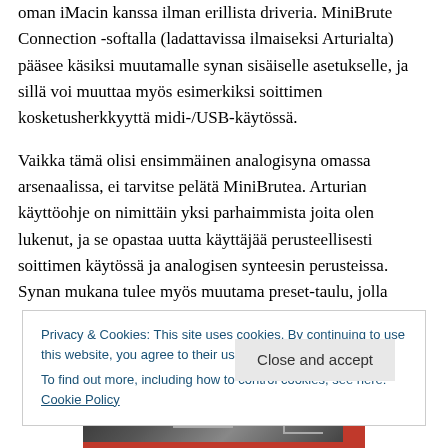oman iMacin kanssa ilman erillista driveria. MiniBrute Connection -softalla (ladattavissa ilmaiseksi Arturialta) pääsee käsiksi muutamalle synan sisäiselle asetukselle, ja sillä voi muuttaa myös esimerkiksi soittimen kosketusherkkyyttä midi-/USB-käytössä.
Vaikka tämä olisi ensimmäinen analogisyna omassa arsenaalissa, ei tarvitse pelätä MiniBrutea. Arturian käyttöohje on nimittäin yksi parhaimmista joita olen lukenut, ja se opastaa uutta käyttäjää perusteellisesti soittimen käytössä ja analogisen synteesin perusteissa. Synan mukana tulee myös muutama preset-taulu, jolla
Privacy & Cookies: This site uses cookies. By continuing to use this website, you agree to their use.
To find out more, including how to control cookies, see here: Cookie Policy
Close and accept
[Figure (photo): Bottom strip showing a partial view of electronic circuit board or synthesizer components on a red background]